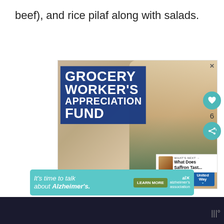beef), and rice pilaf along with salads.
[Figure (photo): Advertisement for Grocery Worker's Appreciation Fund featuring a smiling older woman in a denim shirt and green apron with arms crossed, with Kendall-Jackson and United Way logos at bottom. An overlay shows 'What Does Saffron Tast...' as a next-read suggestion.]
[Figure (photo): Advertisement: 'It's time to talk about Alzheimer's.' with a 'Learn More' button and Alzheimer's Association logo on teal background.]